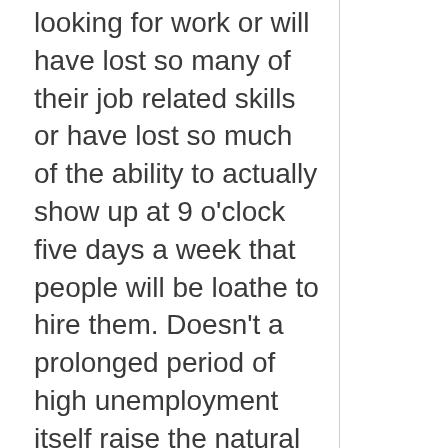looking for work or will have lost so many of their job related skills or have lost so much of the ability to actually show up at 9 o'clock five days a week that people will be loathe to hire them. Doesn't a prolonged period of high unemployment itself raise the natural rate of unemployment?